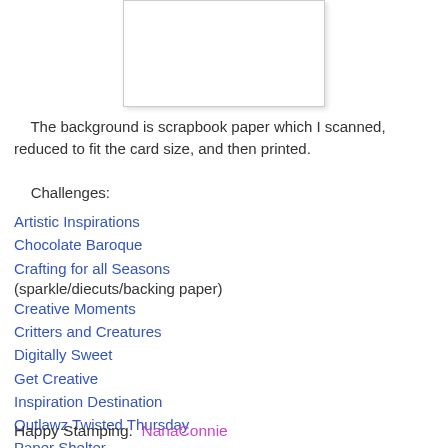[Figure (photo): Partial view of a greeting card with white background and light gray border, top portion visible]
The background is scrapbook paper which I scanned, reduced to fit the card size, and then printed.
Challenges:
Artistic Inspirations
Chocolate Baroque
Crafting for all Seasons (sparkle/diecuts/backing paper)
Creative Moments
Critters and Creatures
Digitally Sweet
Get Creative
Inspiration Destination
Outlawz Twisted Thursday
Paper Shelter
Happy Stamping.  NanaConnie